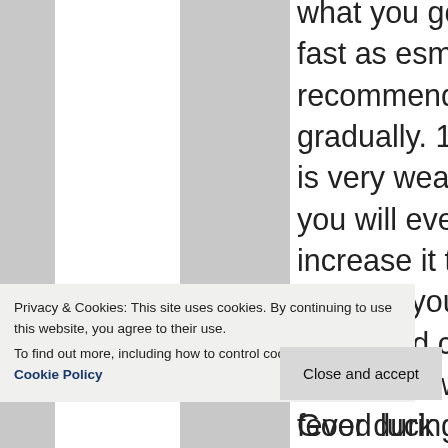what you got. Do short dry fast as esmeelafleur recommended and increase it gradually. 12-16 hrs of fasting is very weak. It's a start but you will eventually have to increase it to 32-42 hrs dry a week. If your body is in a really bad condition it is highly likely you will either get a fever during the initial fasts. This will go away after your body is cleansed. Because your large intestine has been
Privacy & Cookies: This site uses cookies. By continuing to use this website, you agree to their use.
To find out more, including how to control cookies, see here: Cookie Policy
of vitamins. Good luck